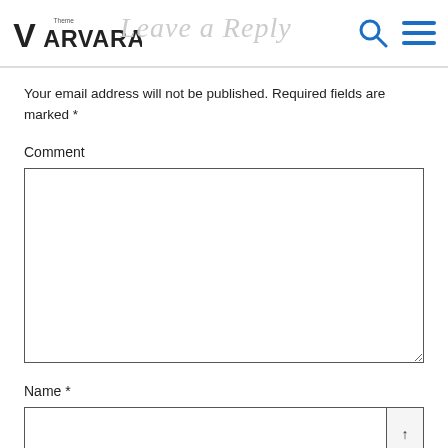Varvara Theme — Leave a Reply
Your email address will not be published. Required fields are marked *
Comment
[Figure (screenshot): Empty comment textarea input box]
Name *
[Figure (screenshot): Name text input field with up arrow button on the right]